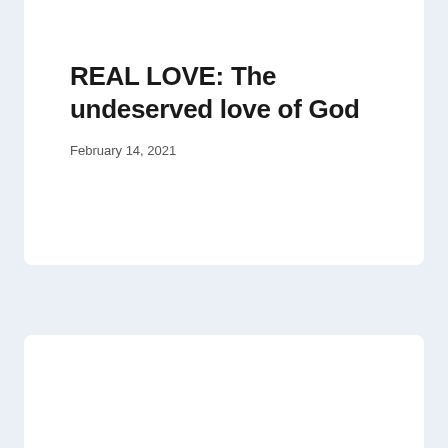REAL LOVE: The undeserved love of God
February 14, 2021